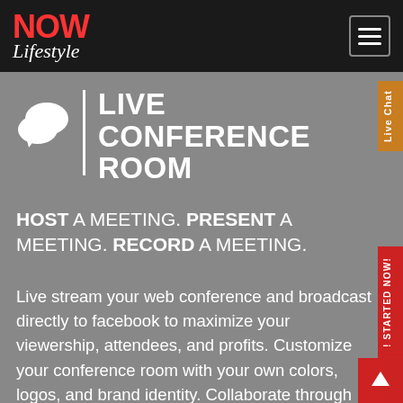[Figure (logo): NOW Lifestyle logo with red NOW text and white italic Lifestyle text on dark background]
[Figure (illustration): Hamburger menu icon (three horizontal lines) in bordered box]
LIVE CONFERENCE ROOM
HOST A MEETING. PRESENT A MEETING. RECORD A MEETING.
Live stream your web conference and broadcast directly to facebook to maximize your viewership, attendees, and profits. Customize your conference room with your own colors, logos, and brand identity. Collaborate through the live chat with your customers and team all in one secure conference